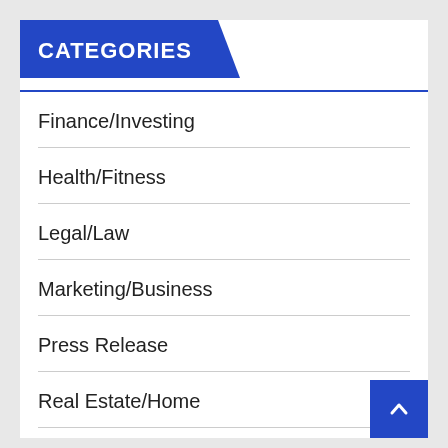CATEGORIES
Finance/Investing
Health/Fitness
Legal/Law
Marketing/Business
Press Release
Real Estate/Home
Tech/Innovation